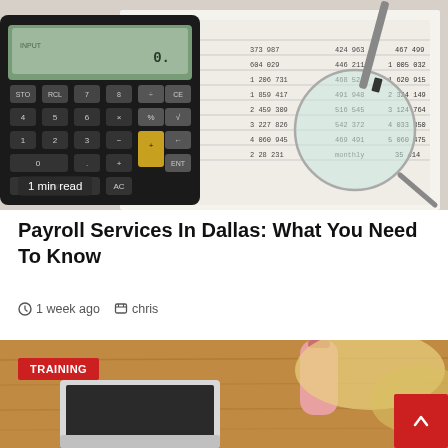[Figure (photo): Photo of a calculator, pen, and financial spreadsheets with a magnifying glass on top of numerical data]
1 min read
Payroll Services In Dallas: What You Need To Know
1 week ago   chris
[Figure (photo): Photo of a person with blonde hair working on a laptop at a wooden desk with a drink nearby, with a TRAINING badge overlay]